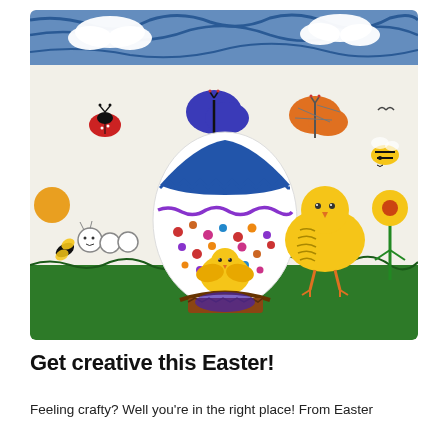[Figure (illustration): A children's drawing/artwork showing an Easter scene with a large decorated egg with a chick hatching, butterflies (blue, red/black, orange/black), bumblebees, a yellow chick standing on grass, a flower, a caterpillar-like creature, and a blue-green sky with white clouds and green grass at the bottom.]
Get creative this Easter!
Feeling crafty? Well you're in the right place! From Easter